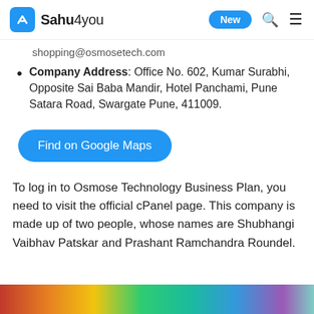Sahu4you — New
shopping@osmosetech.com
Company Address: Office No. 602, Kumar Surabhi, Opposite Sai Baba Mandir, Hotel Panchami, Pune Satara Road, Swargate Pune, 411009.
[Figure (other): Find on Google Maps button (blue rounded rectangle)]
To log in to Osmose Technology Business Plan, you need to visit the official cPanel page. This company is made up of two people, whose names are Shubhangi Vaibhav Patskar and Prashant Ramchandra Roundel.
[Figure (photo): Colorful gradient image strip at the bottom of the page]